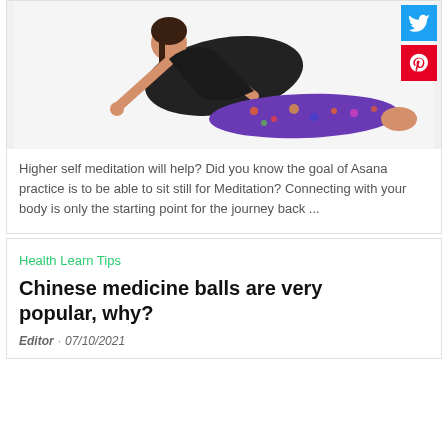[Figure (photo): Woman performing a yoga cobra/upward dog pose on a white background, wearing colorful patterned leggings]
[Figure (infographic): Twitter social share button (blue square with bird icon) and Pinterest share button (red square with P icon)]
Higher self meditation will help? Did you know the goal of Asana practice is to be able to sit still for Meditation? Connecting with your body is only the starting point for the journey back ...
Health Learn Tips
Chinese medicine balls are very popular, why?
Editor · 07/10/2021